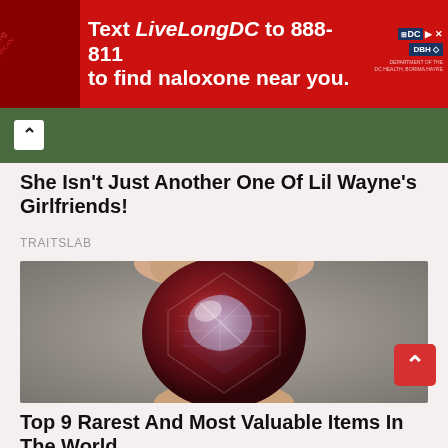[Figure (photo): Red ad banner: Text LiveLongDC to 888-811 to find naloxone near you. DC and DHH logos on right. Person holding medication tube on left.]
[Figure (photo): Partial image of a person in a green top, with a back/up arrow button overlay. Sub-header image bar.]
She Isn't Just Another One Of Lil Wayne's Girlfriends!
TRAITSLAB
[Figure (photo): A dark red/maroon gemstone sphere being held between two fingers, with faceted crystal surfaces reflecting light. Gray background.]
Top 9 Rarest And Most Valuable Items In The World